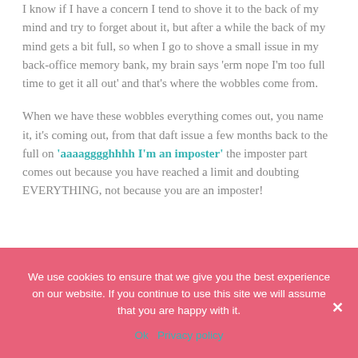I know if I have a concern I tend to shove it to the back of my mind and try to forget about it, but after a while the back of my mind gets a bit full, so when I go to shove a small issue in my back-office memory bank, my brain says 'erm nope I'm too full time to get it all out' and that's where the wobbles come from.
When we have these wobbles everything comes out, you name it, it's coming out, from that daft issue a few months back to the full on 'aaaagggghh I'm an imposter' the imposter part comes out because you have reached a limit and doubting EVERYTHING, not because you are an imposter!
We use cookies to ensure that we give you the best experience on our website. If you continue to use this site we will assume that you are happy with it.
Ok   Privacy policy